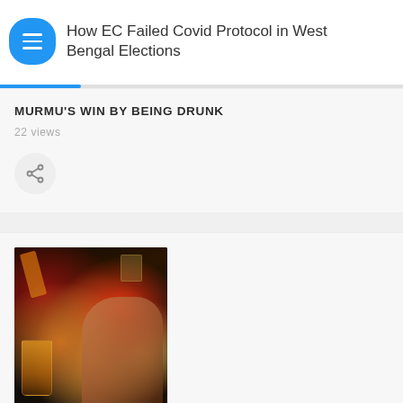How EC Failed Covid Protocol in West Bengal Elections
MURMU'S WIN BY BEING DRUNK
22 views
[Figure (illustration): Share icon button - circular grey button with share/network icon]
[Figure (photo): Photo of whiskey/liquor being poured into a glass, with a hand holding a glass, dark background with warm amber tones]